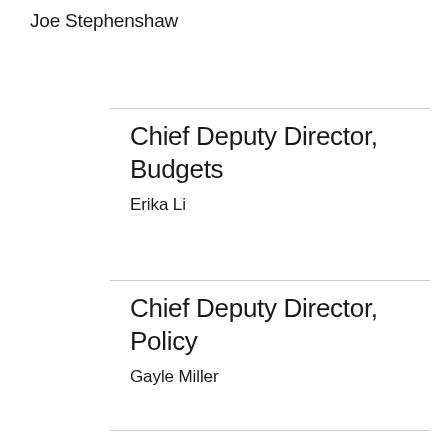Joe Stephenshaw
Chief Deputy Director, Budgets
Erika Li
Chief Deputy Director, Policy
Gayle Miller